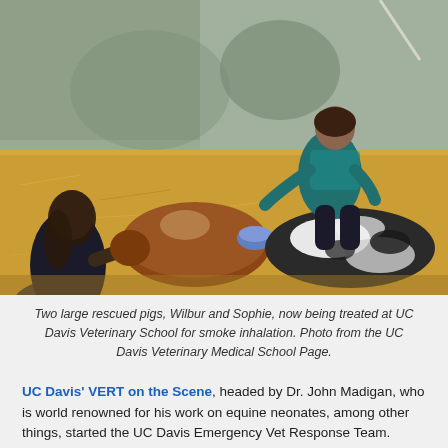[Figure (photo): Two people treating two large pigs lying on wood shavings inside a concrete enclosure. One person in dark clothing on the left, another in teal scrubs crouching in the background. A blue bowl is visible between the animals.]
Two large rescued pigs, Wilbur and Sophie, now being treated at UC Davis Veterinary School for smoke inhalation. Photo from the UC Davis Veterinary Medical School Page.
UC Davis' VERT on the Scene, headed by Dr. John Madigan, who is world renowned for his work on equine neonates, among other things, started the UC Davis Emergency Vet Response Team.